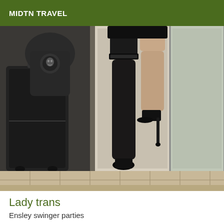MIDTN TRAVEL
[Figure (photo): Photo showing legs of a person in black thigh-high stockings and high heels, with a large black suitcase on the left and a doorway on the right, tile floor visible]
Lady trans
Ensley swinger parties